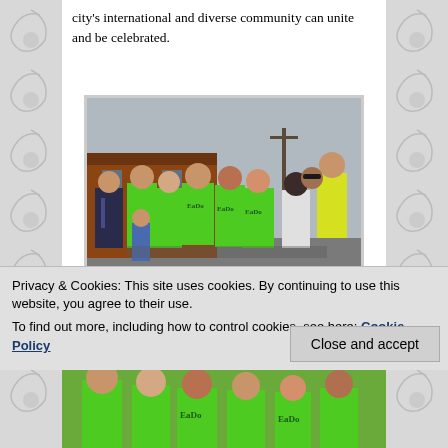city's international and diverse community can unite and be celebrated.
[Figure (photo): Group of volunteers in bright green EaDo t-shirts posing outdoors near a brick building and street.]
More than 150 volunteers from different communities
Privacy & Cookies: This site uses cookies. By continuing to use this website, you agree to their use.
To find out more, including how to control cookies, see here: Cookie Policy
[Figure (photo): Partial view of people in green shirts at bottom of page.]